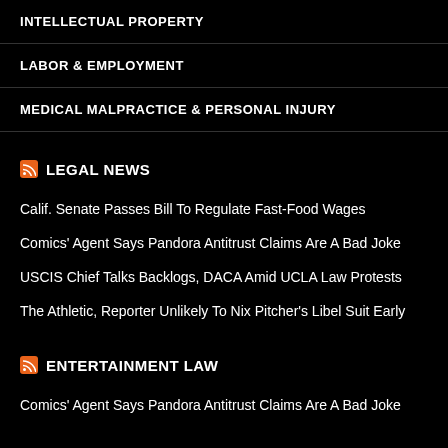INTELLECTUAL PROPERTY
LABOR & EMPLOYMENT
MEDICAL MALPRACTICE & PERSONAL INJURY
LEGAL NEWS
Calif. Senate Passes Bill To Regulate Fast-Food Wages
Comics' Agent Says Pandora Antitrust Claims Are A Bad Joke
USCIS Chief Talks Backlogs, DACA Amid UCLA Law Protests
The Athletic, Reporter Unlikely To Nix Pitcher's Libel Suit Early
ENTERTAINMENT LAW
Comics' Agent Says Pandora Antitrust Claims Are A Bad Joke